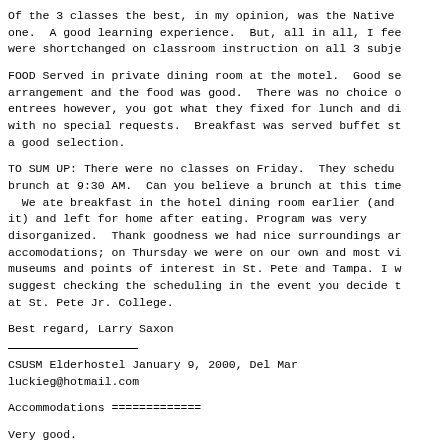Of the 3 classes the best, in my opinion, was the Native one.  A good learning experience.  But, all in all, I fee were shortchanged on classroom instruction on all 3 subje
FOOD Served in private dining room at the motel.  Good se arrangement and the food was good.  There was no choice o entrees however, you got what they fixed for lunch and di with no special requests.  Breakfast was served buffet st a good selection.
TO SUM UP: There were no classes on Friday.  They schedu brunch at 9:30 AM.  Can you believe a brunch at this time   We ate breakfast in the hotel dining room earlier (and it) and left for home after eating. Program was very disorganized.  Thank goodness we had nice surroundings ar accomodations; on Thursday we were on our own and most vi museums and points of interest in St. Pete and Tampa. I w suggest checking the scheduling in the event you decide t at St. Pete Jr. College.
Best regard, Larry Saxon
CSUSM Elderhostel January 9, 2000, Del Mar
luckieg@hotmail.com
Accommodations =============
Very good.